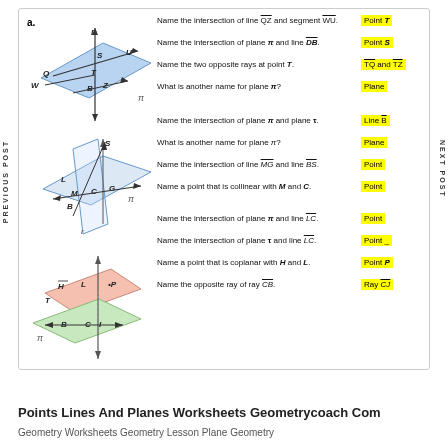a.
[Figure (engineering-diagram): Geometric diagram showing plane π with points Q, W, T, B, Z, S, D, U and intersecting lines/rays]
Name the intersection of line QZ and segment WU. | Point T
Name the intersection of plane π and line DB. | Point S
Name the two opposite rays at point T. | TQ and TZ
What is another name for plane π? | Plane
[Figure (engineering-diagram): Two intersecting planes with points L, M, C, G, B, S and line labels π, t]
Name the intersection of plane π and plane t. | Line B
What is another name for plane π? | Plane
Name the intersection of line MG and line BS. | Point
Name a point that is collinear with M and C. | Point
[Figure (engineering-diagram): Two intersecting planes with points H, L, P, T, B, C, I and line LC]
Name the intersection of plane π and line LC. | Point
Name the intersection of plane t and line LC. | Point _
Name a point that is coplanar with H and L. | Point P
Name the opposite ray of ray CB. | Ray CJ
Points Lines And Planes Worksheets Geometrycoach Com
Geometry Worksheets Geometry Lesson Plane Geometry